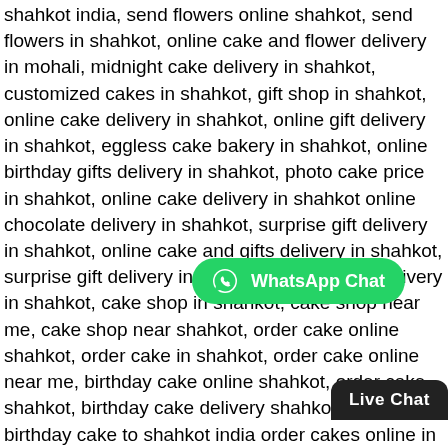shahkot india, send flowers online shahkot, send flowers in shahkot, online cake and flower delivery in mohali, midnight cake delivery in shahkot, customized cakes in shahkot, gift shop in shahkot, online cake delivery in shahkot, online gift delivery in shahkot, eggless cake bakery in shahkot, online birthday gifts delivery in shahkot, photo cake price in shahkot, online cake delivery in shahkot online chocolate delivery in shahkot, surprise gift delivery in shahkot, online cake and gifts delivery in shahkot, surprise gift delivery in shahkot, online cake delivery in shahkot, cake shop in shahkot, cake shop near me, cake shop near shahkot, order cake online shahkot, order cake in shahkot, order cake online near me, birthday cake online shahkot, order cake shahkot, birthday cake delivery shahkot, send birthday cake to shahkot india order cakes online in shahkot, cake order in shahkot, birthday cakes in shahkot, order cake online shahkot, birthday cake online shahkot, send flowers to shahkot, flowers native to shahkot, send flowers to shahkot, send flowers to shahkot india, online birthday gift delivery in shahkot, buy cake online in shahkot, online gift shop in shahkot, top cake shops in shahkot, cake delivery in shahkot, cartoon cakes online shahkot, cake in shahkot, online flowers to shahkot, flower and cake delivery in shahkot, online flowers and cake delivery in shahkot, cake and flowers midnight delivery in shahkot, birthday cake and flowers online delivery in shahkot cake and flowers delivery in
[Figure (other): WhatsApp Chat button (green rounded button with WhatsApp icon and text 'WhatsApp Chat')]
[Figure (other): Live Chat button (dark/black rounded tab button with text 'Live Chat')]